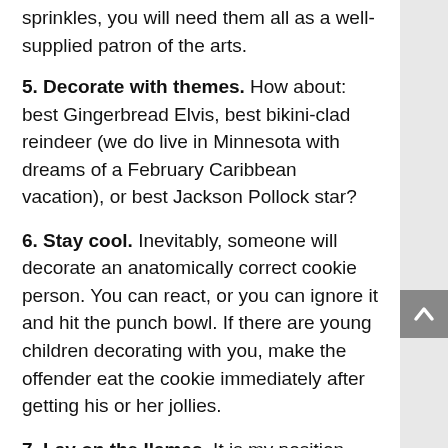sprinkles, you will need them all as a well-supplied patron of the arts.
5. Decorate with themes. How about: best Gingerbread Elvis, best bikini-clad reindeer (we do live in Minnesota with dreams of a February Caribbean vacation), or best Jackson Pollock star?
6. Stay cool. Inevitably, someone will decorate an anatomically correct cookie person. You can react, or you can ignore it and hit the punch bowl. If there are young children decorating with you, make the offender eat the cookie immediately after getting his or her jollies.
7. Lay on the llamas. It is my position that cookie decorating should be more about fun with frosting and friends than the pursuit of the perfectly frosted cookie. That’s why I do not just bake Christmas-themed